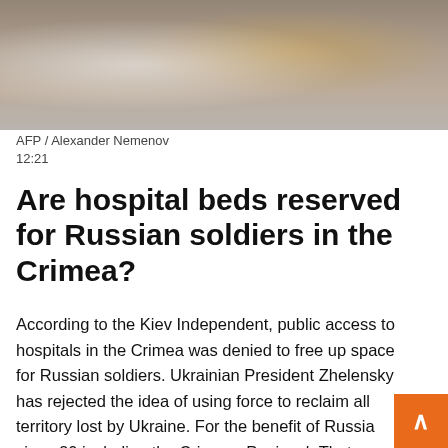[Figure (photo): Two people in ornate ceremonial dress, one in a white embroidered robe holding flowers, photographed from the chest up]
AFP / Alexander Nemenov
12:21
Are hospital beds reserved for Russian soldiers in the Crimea?
According to the Kiev Independent, public access to hospitals in the Crimea was denied to free up space for Russian soldiers. Ukrainian President Zhelensky has rejected the idea of using force to reclaim all territory lost by Ukraine. For the benefit of Russia since 20 including the Crimean PeninsulaThat year was annexed by Moscow.